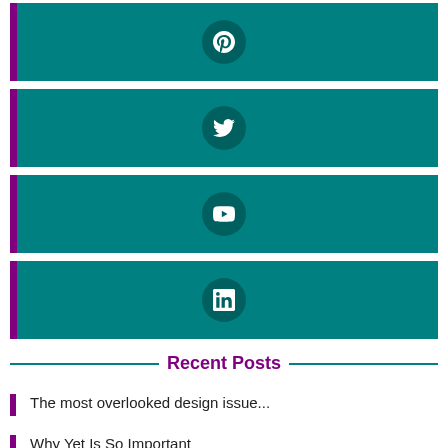[Figure (infographic): Pinterest social media button bar with purple left accent and teal background]
[Figure (infographic): Twitter social media button bar with purple left accent and teal background]
[Figure (infographic): YouTube social media button bar with purple left accent and teal background]
[Figure (infographic): LinkedIn social media button bar with purple left accent and teal background]
Recent Posts
The most overlooked design issue...
Why Yet Is So Important
How far ahead should I schedule content?